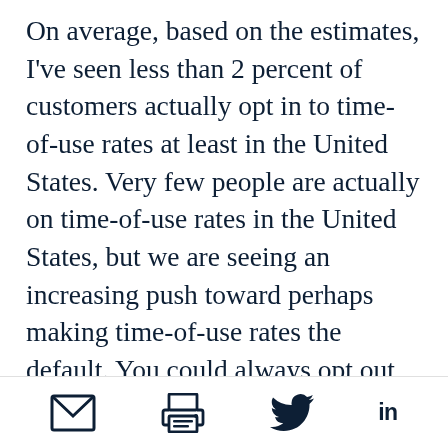On average, based on the estimates, I've seen less than 2 percent of customers actually opt in to time-of-use rates at least in the United States. Very few people are actually on time-of-use rates in the United States, but we are seeing an increasing push toward perhaps making time-of-use rates the default. You could always opt out, but one thing we know from behavioral economics is that default
We use cookies to provide you with a better service. Carry on browsing if you're happy with this, or find out more.
[Figure (other): Page footer with social sharing icons: email envelope, print, Twitter bird, LinkedIn 'in' text]